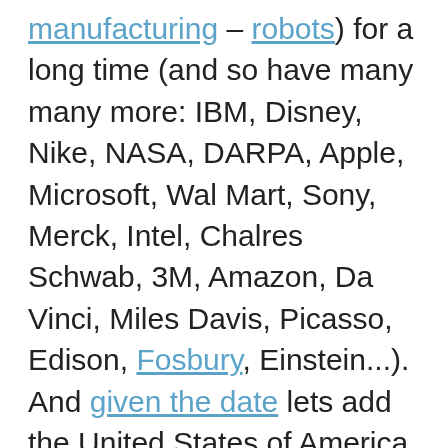manufacturing – robots) for a long time (and so have many many more: IBM, Disney, Nike, NASA, DARPA, Apple, Microsoft, Wal Mart, Sony, Merck, Intel, Chalres Schwab, 3M, Amazon, Da Vinci, Miles Davis, Picasso, Edison, Fosbury, Einstein...). And given the date lets add the United States of America to the innovation list.
I really don't understand how people can talk about innovation as if it were some new discovery. Yes I understand we can bring a different focus to innovation. We